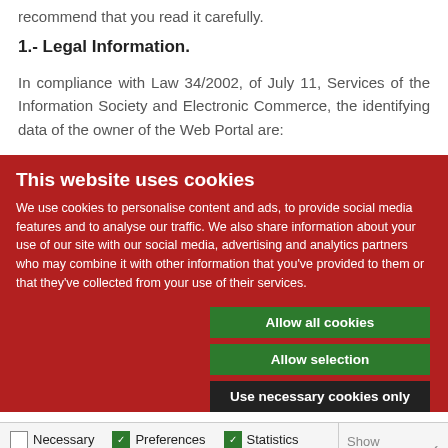recommend that you read it carefully.
1.- Legal Information.
In compliance with Law 34/2002, of July 11, Services of the Information Society and Electronic Commerce, the identifying data of the owner of the Web Portal are:
This website uses cookies
We use cookies to personalise content and ads, to provide social media features and to analyse our traffic. We also share information about your use of our site with our social media, advertising and analytics partners who may combine it with other information that you've provided to them or that they've collected from your use of their services.
Allow all cookies
Allow selection
Use necessary cookies only
Necessary  Preferences  Statistics  Marketing  Show details